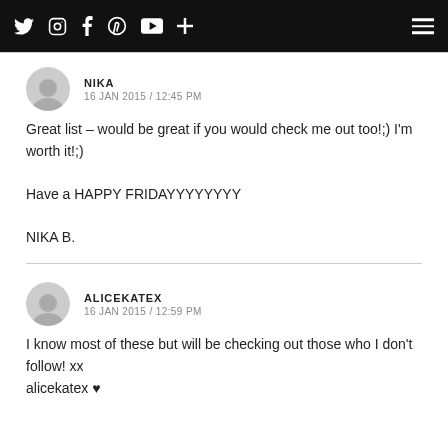Social media icons navigation bar with hamburger menu
NIKA
16 JAN 2015 / 12:45 PM

Great list – would be great if you would check me out too!;) I'm worth it!;)

Have a HAPPY FRIDAYYYYYYYY

NIKA B.
ALICEKATEX
16 JAN 2015 / 12:59 PM

I know most of these but will be checking out those who I don't follow! xx
alicekatex ♥